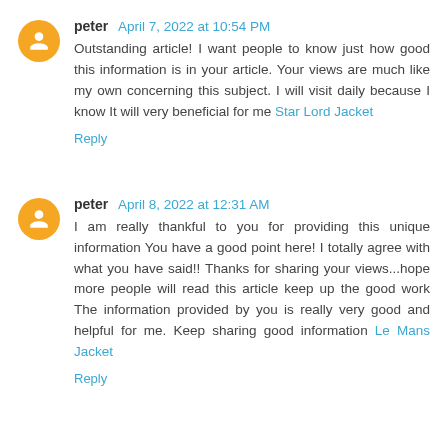peter  April 7, 2022 at 10:54 PM
Outstanding article! I want people to know just how good this information is in your article. Your views are much like my own concerning this subject. I will visit daily because I know It will very beneficial for me Star Lord Jacket
Reply
peter  April 8, 2022 at 12:31 AM
I am really thankful to you for providing this unique information You have a good point here! I totally agree with what you have said!! Thanks for sharing your views...hope more people will read this article keep up the good work The information provided by you is really very good and helpful for me. Keep sharing good information Le Mans Jacket
Reply